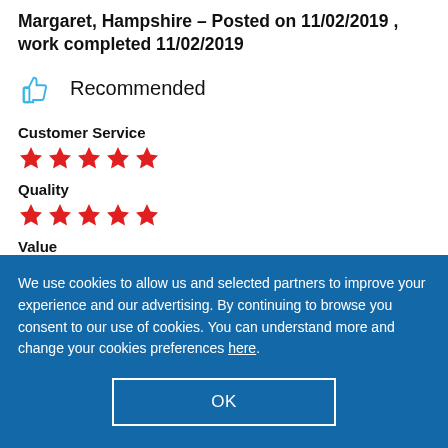Margaret, Hampshire – Posted on 11/02/2019 , work completed 11/02/2019
Recommended
Customer Service
[Figure (other): 5 red stars rating for Customer Service]
Quality
[Figure (other): 5 red stars rating for Quality]
Value
We use cookies to allow us and selected partners to improve your experience and our advertising. By continuing to browse you consent to our use of cookies. You can understand more and change your cookies preferences here.